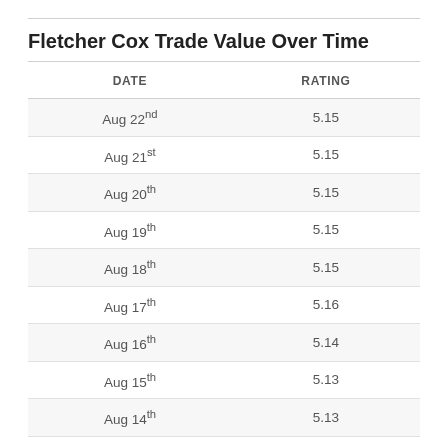Fletcher Cox Trade Value Over Time
| DATE | RATING |
| --- | --- |
| Aug 22nd | 5.15 |
| Aug 21st | 5.15 |
| Aug 20th | 5.15 |
| Aug 19th | 5.15 |
| Aug 18th | 5.15 |
| Aug 17th | 5.16 |
| Aug 16th | 5.14 |
| Aug 15th | 5.13 |
| Aug 14th | 5.13 |
| Aug 13th | 5.13 |